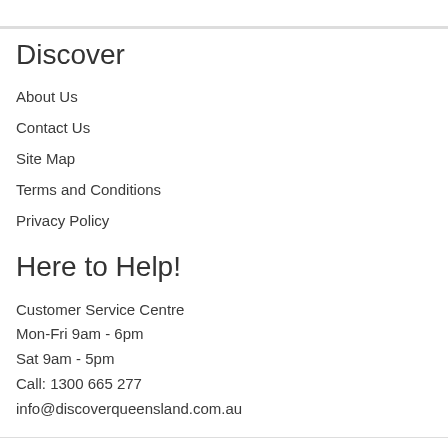Discover
About Us
Contact Us
Site Map
Terms and Conditions
Privacy Policy
Here to Help!
Customer Service Centre
Mon-Fri 9am - 6pm
Sat 9am - 5pm
Call: 1300 665 277
info@discoverqueensland.com.au